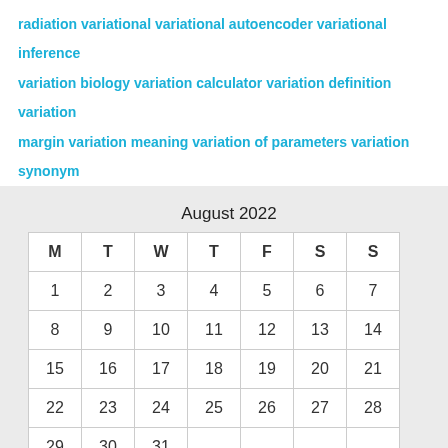radiation variational variational autoencoder variational inference variation biology variation calculator variation definition variation margin variation meaning variation of parameters variation synonym
| M | T | W | T | F | S | S |
| --- | --- | --- | --- | --- | --- | --- |
| 1 | 2 | 3 | 4 | 5 | 6 | 7 |
| 8 | 9 | 10 | 11 | 12 | 13 | 14 |
| 15 | 16 | 17 | 18 | 19 | 20 | 21 |
| 22 | 23 | 24 | 25 | 26 | 27 | 28 |
| 29 | 30 | 31 |  |  |  |  |